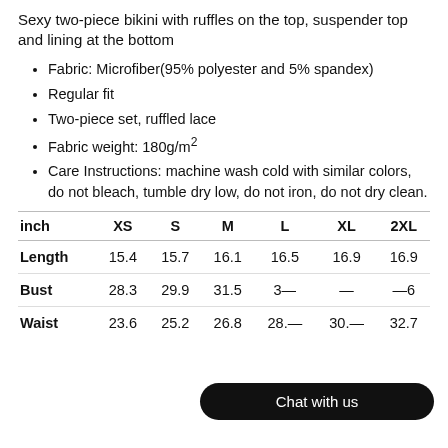Sexy two-piece bikini with ruffles on the top, suspender top and lining at the bottom
Fabric: Microfiber(95% polyester and 5% spandex)
Regular fit
Two-piece set, ruffled lace
Fabric weight: 180g/m²
Care Instructions: machine wash cold with similar colors, do not bleach, tumble dry low, do not iron, do not dry clean.
| inch | XS | S | M | L | XL | 2XL |
| --- | --- | --- | --- | --- | --- | --- |
| Length | 15.4 | 15.7 | 16.1 | 16.5 | 16.9 | 16.9 |
| Bust | 28.3 | 29.9 | 31.5 | 3? | ? | ?6 |
| Waist | 23.6 | 25.2 | 26.8 | 28.? | 30.? | 32.7 |